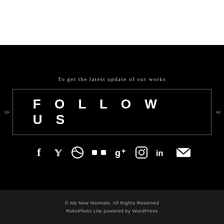To get the latest update of our works
FOLLOW US
[Figure (illustration): Social media icons row: Facebook, Twitter, Dribbble, Flickr, Google+, Instagram, LinkedIn, Email]
© My New Normals. All Rights Reserved RokoPhoto Lite powered by WordPress